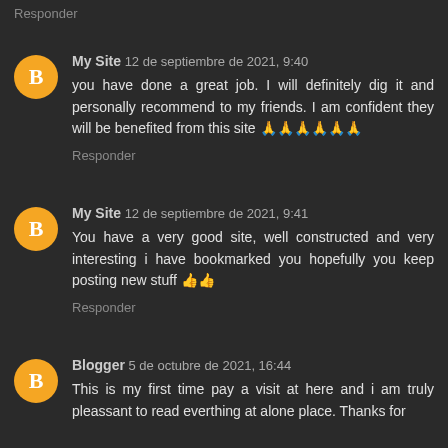Responder
My Site 12 de septiembre de 2021, 9:40
you have done a great job. I will definitely dig it and personally recommend to my friends. I am confident they will be benefited from this site 🙏🙏🙏🙏🙏🙏
Responder
My Site 12 de septiembre de 2021, 9:41
You have a very good site, well constructed and very interesting i have bookmarked you hopefully you keep posting new stuff 👍👍
Responder
Blogger 5 de octubre de 2021, 16:44
This is my first time pay a visit at here and i am truly pleassant to read everthing at alone place. Thanks for